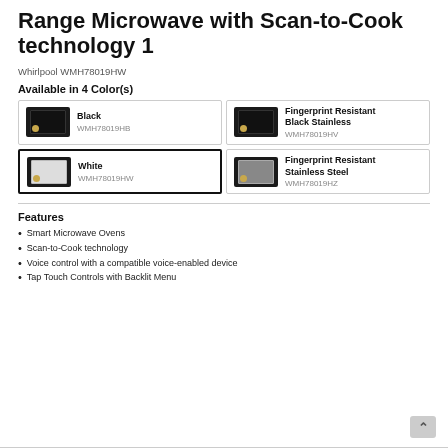Range Microwave with Scan-to-Cook technology 1
Whirlpool WMH78019HW
Available in 4 Color(s)
| Color | Model |
| --- | --- |
| Black | WMH78019HB |
| Fingerprint Resistant Black Stainless | WMH78019HV |
| White | WMH78019HW |
| Fingerprint Resistant Stainless Steel | WMH78019HZ |
Features
Smart Microwave Ovens
Scan-to-Cook technology
Voice control with a compatible voice-enabled device
Tap Touch Controls with Backlit Menu